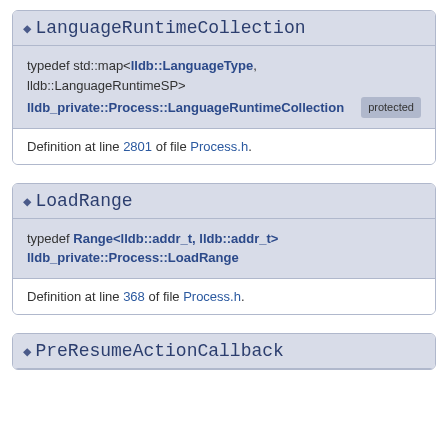LanguageRuntimeCollection
typedef std::map<lldb::LanguageType, lldb::LanguageRuntimeSP> lldb_private::Process::LanguageRuntimeCollection [protected]
Definition at line 2801 of file Process.h.
LoadRange
typedef Range<lldb::addr_t, lldb::addr_t> lldb_private::Process::LoadRange
Definition at line 368 of file Process.h.
PreResumeActionCallback